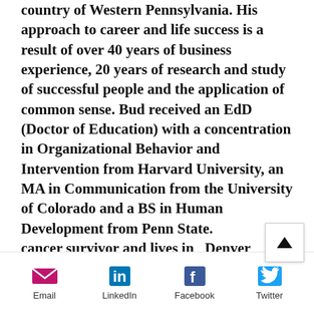country of Western Pennsylvania. His approach to career and life success is a result of over 40 years of business experience, 20 years of research and study of successful people and the application of common sense. Bud received an EdD (Doctor of Education) with a concentration in Organizational Behavior and Intervention from Harvard University, an MA in Communication from the University of Colorado and a BS in Human Development from Penn State. [He] is a cancer survivor and lives in Denver Colorado with his wife [...]
[Figure (other): Scroll-to-top button with upward arrow]
[Figure (infographic): Social sharing bar with Email, LinkedIn, Facebook, Twitter icons and labels]